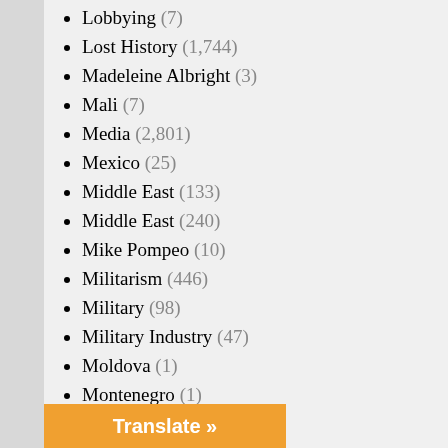Lobbying (7)
Lost History (1,744)
Madeleine Albright (3)
Mali (7)
Media (2,801)
Mexico (25)
Middle East (133)
Middle East (240)
Mike Pompeo (10)
Militarism (446)
Military (98)
Military Industry (47)
Moldova (1)
Montenegro (1)
Music (6)
NATO (14)
Nazism (4)
New Zealand (3)
(3)